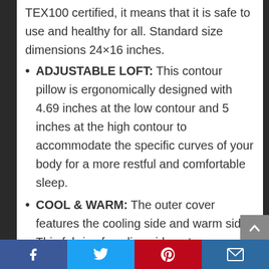TEX100 certified, it means that it is safe to use and healthy for all. Standard size dimensions 24×16 inches.
ADJUSTABLE LOFT: This contour pillow is ergonomically designed with 4.69 inches at the low contour and 5 inches at the high contour to accommodate the specific curves of your body for a more restful and comfortable sleep.
COOL & WARM: The outer cover features the cooling side and warm side. This fabric of cooling side not
Facebook | Twitter | Pinterest | Email